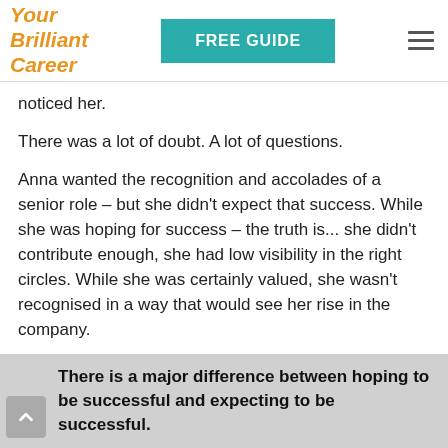[Figure (logo): Your Brilliant Career logo in orange italic script, with 'FREE GUIDE' teal button and hamburger menu icon in header]
noticed her.
There was a lot of doubt. A lot of questions.
Anna wanted the recognition and accolades of a senior role – but she didn't expect that success. While she was hoping for success – the truth is... she didn't contribute enough, she had low visibility in the right circles. While she was certainly valued, she wasn't recognised in a way that would see her rise in the company.
Anna hoped for success and worked so hard that it almost hurt, but she didn't expect to succeed.
There is a major difference between hoping to be successful and expecting to be successful.